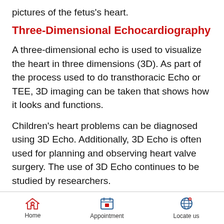pictures of the fetus's heart.
Three-Dimensional Echocardiography
A three-dimensional echo is used to visualize the heart in three dimensions (3D). As part of the process used to do transthoracic Echo or TEE, 3D imaging can be taken that shows how it looks and functions.
Children's heart problems can be diagnosed using 3D Echo. Additionally, 3D Echo is often used for planning and observing heart valve surgery. The use of 3D Echo continues to be studied by researchers.
Home    Appointment    Locate us